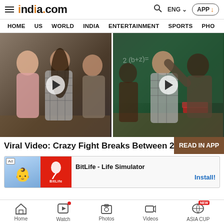india.com — HOME US WORLD INDIA ENTERTAINMENT SPORTS PHO
[Figure (screenshot): Two side-by-side video thumbnails showing a girl fight in a classroom with play buttons]
Viral Video: Crazy Fight Breaks Between 2 Girl
READ IN APP
[Figure (screenshot): Ad banner: BitLife - Life Simulator with Install button]
Home  Watch  Photos  Videos  ASIA CUP